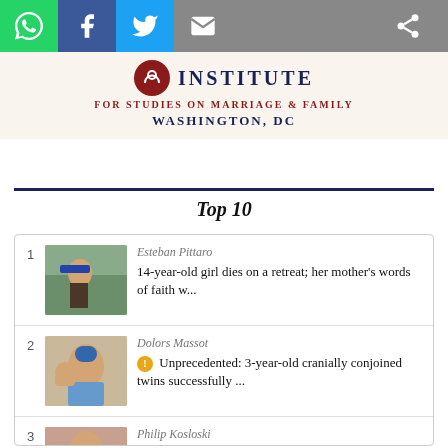[Figure (screenshot): Social sharing bar with WhatsApp, Facebook, Twitter, Email, and Share icons]
[Figure (logo): Institute for Studies on Marriage & Family, Washington DC logo header]
Top 10
1 Esteban Pittaro — 14-year-old girl dies on a retreat; her mother's words of faith w...
2 Dolors Massot — Unprecedented: 3-year-old cranially conjoined twins successfully ...
3 Philip Kosloski